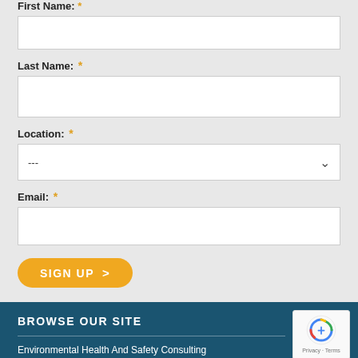First Name: *
Last Name: *
Location: *
Email: *
SIGN UP >
BROWSE OUR SITE
Environmental Health And Safety Consulting